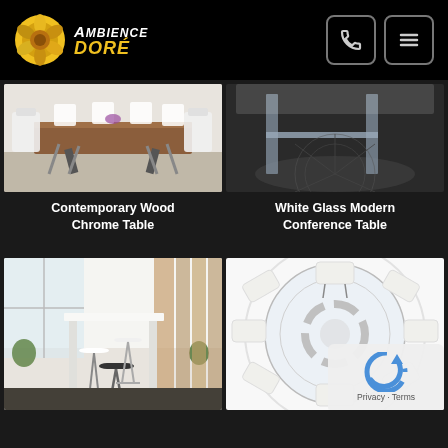Ambience Doré – navigation header with logo, phone icon, and menu icon
[Figure (photo): Contemporary wood chrome conference table with white chairs in a modern meeting room]
Contemporary Wood Chrome Table
[Figure (photo): White glass modern conference table with chrome frame in a dark setting]
White Glass Modern Conference Table
[Figure (photo): Bar-height table with walnut wood and white modern bar stools in a bright office space]
[Figure (photo): Round glass conference table with white office chairs viewed from above]
[Figure (other): reCAPTCHA widget overlay showing the Google reCAPTCHA logo with Privacy and Terms links]